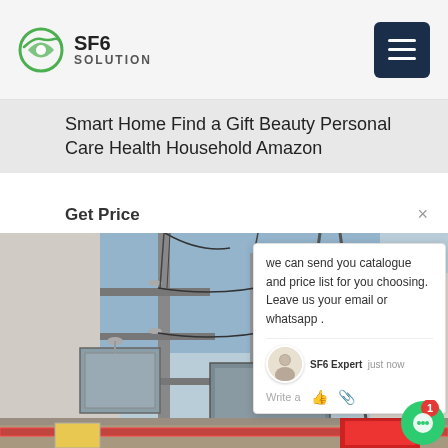SF6 SOLUTION
Smart Home Find a Gift Beauty Personal Care Health Household Amazon
Get Price
[Figure (photo): Outdoor electrical substation with high-voltage transformers, insulators, power lines and metal structures against a building wall. SF6 gas equipment visible. Red safety tape at bottom of image.]
we can send you catalogue and price list for you choosing.
Leave us your email or whatsapp .
SF6 Expert   just now
Write a